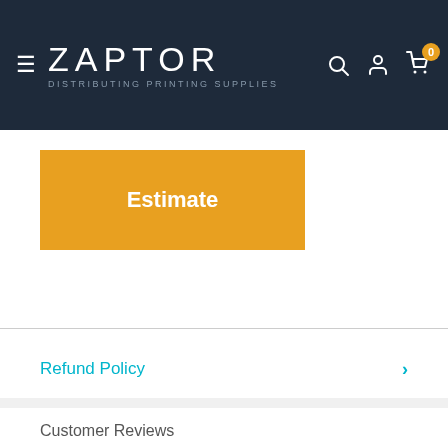[Figure (screenshot): Zaptor website header with dark navy background, hamburger menu icon, Zaptor logo with tagline 'Distributing Printing Supplies', search icon, user icon, and cart icon with badge showing 0]
Estimate
Refund Policy
Customer Reviews
Be the first to write a review
Write a review